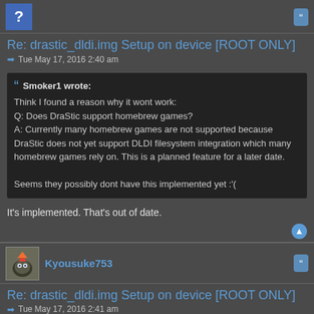[Figure (other): User avatar blue box with question mark icon, top left]
[Figure (other): Quote button top right]
Re: drastic_dldi.img Setup on device [ROOT ONLY]
→  Tue May 17, 2016 2:40 am
Smoker1 wrote:
Think I found a reason why it wont work:
Q: Does DraStic support homebrew games?
A: Currently many homebrew games are not supported because DraStic does not yet support DLDI filesystem integration which many homebrew games rely on. This is a planned feature for a later date.

Seems they possibly dont have this implemented yet :'(
It's implemented. That's out of date.
[Figure (other): Scroll to top arrow circle button]
[Figure (photo): Kyousuke753 user avatar with flame bird sprite]
Kyousuke753
[Figure (other): Quote button]
Re: drastic_dldi.img Setup on device [ROOT ONLY]
→  Tue May 17, 2016 2:41 am
As in Drastic r2.5.0.0 Beta?